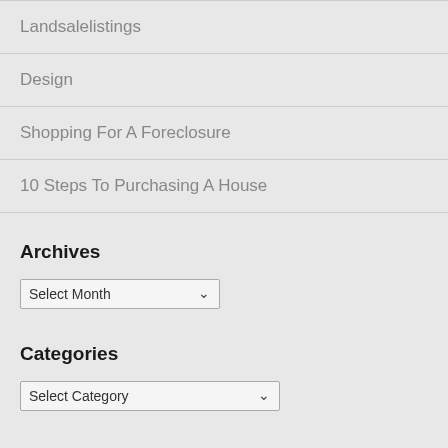Landsalelistings
Design
Shopping For A Foreclosure
10 Steps To Purchasing A House
Archives
Select Month (dropdown)
Categories
Select Category (dropdown)
About Us
Sitemap